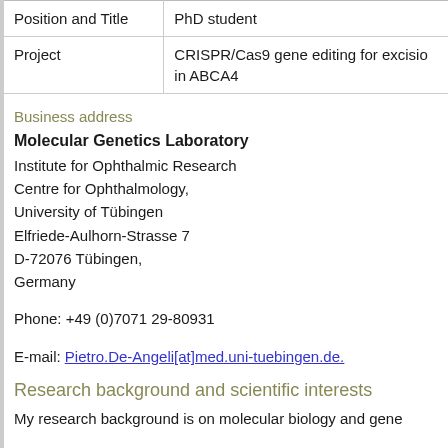|  |  |
| --- | --- |
| Position and Title | PhD student |
| Project | CRISPR/Cas9 gene editing for excision in ABCA4 |
Business address
Molecular Genetics Laboratory
Institute for Ophthalmic Research
Centre for Ophthalmology,
University of Tübingen
Elfriede-Aulhorn-Strasse 7
D-72076 Tübingen,
Germany
Phone: +49 (0)7071 29-80931
E-mail: Pietro.De-Angeli[at]med.uni-tuebingen.de.
Research background and scientific interests
My research background is on molecular biology and gene...